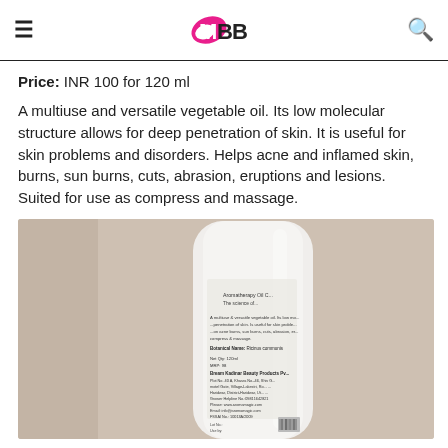IMBB
Price: INR 100 for 120 ml
A multiuse and versatile vegetable oil. Its low molecular structure allows for deep penetration of skin. It is useful for skin problems and disorders. Helps acne and inflamed skin, burns, sun burns, cuts, abrasion, eruptions and lesions. Suited for use as compress and massage.
[Figure (photo): Photo of a white bottle of Aromatherapy Oil (Castor Oil) showing the product label with botanical name Ricinus communis, manufactured by Bream Kadinar Beauty Products Pvt Ltd, with address, helpline, website and FSSAI details visible.]